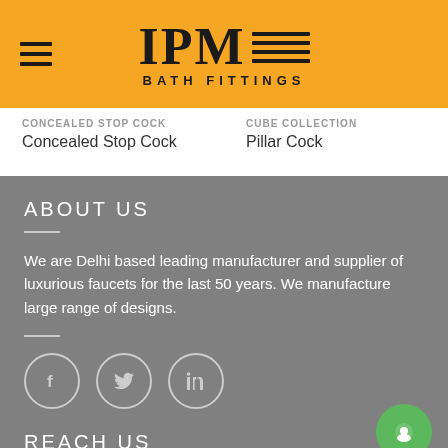[Figure (logo): IPM Bath Fittings logo with orange header background, hamburger menu icon on left]
CONCEALED STOP COCK
Concealed Stop Cock
CUBE COLLECTION
Pillar Cock
ABOUT US
We are Delhi based leading manufacturer and supplier of luxurious faucets for the last 50 years. We manufacture large range of designs.
[Figure (illustration): Social media icons: Facebook, Twitter, LinkedIn in circles]
REACH US
Our Location
Our Enterprise